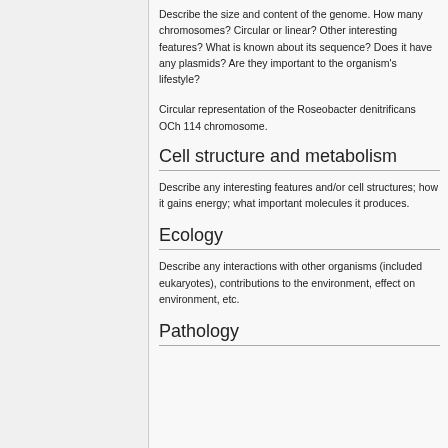Describe the size and content of the genome. How many chromosomes? Circular or linear? Other interesting features? What is known about its sequence? Does it have any plasmids? Are they important to the organism's lifestyle?
Circular representation of the Roseobacter denitrificans OCh 114 chromosome.
Cell structure and metabolism
Describe any interesting features and/or cell structures; how it gains energy; what important molecules it produces.
Ecology
Describe any interactions with other organisms (included eukaryotes), contributions to the environment, effect on environment, etc.
Pathology